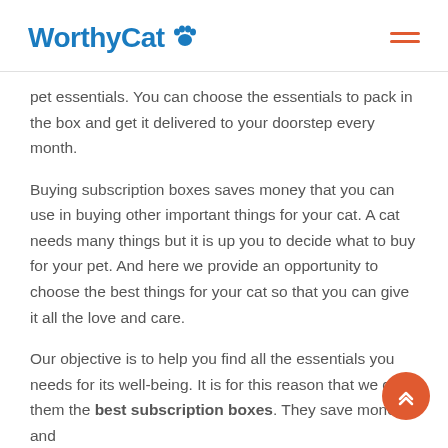WorthyCat 🐾
pet essentials. You can choose the essentials to pack in the box and get it delivered to your doorstep every month.
Buying subscription boxes saves money that you can use in buying other important things for your cat. A cat needs many things but it is up you to decide what to buy for your pet. And here we provide an opportunity to choose the best things for your cat so that you can give it all the love and care.
Our objective is to help you find all the essentials your needs for its well-being. It is for this reason that we ca them the best subscription boxes. They save money and